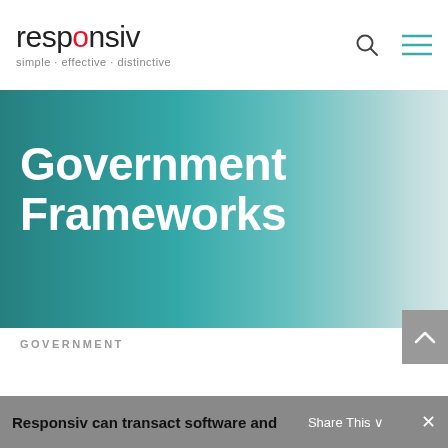responsiv — simple · effective · distinctive
Government Frameworks
GOVERNMENT
Responsiv can transact software and